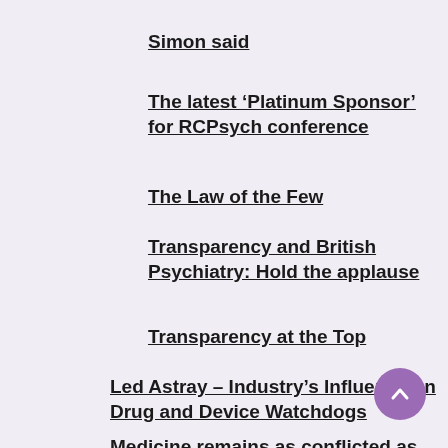Simon said
The latest ‘Platinum Sponsor’ for RCPsych conference
The Law of the Few
Transparency and British Psychiatry: Hold the applause
Transparency at the Top
Led Astray – Industry’s Influence on Drug and Device Watchdogs
Medicine remains as conflicted as